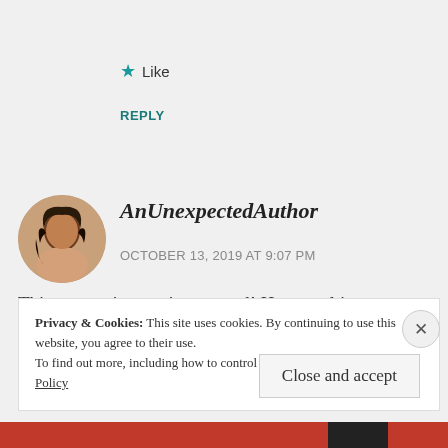★ Like
REPLY
[Figure (photo): Circular avatar photo of a young woman with dark hair]
AnUnexpectedAuthor
OCTOBER 13, 2019 AT 9:07 PM
This was so interesting to read! How cool it must have been to work in a food truck! And the
Privacy & Cookies: This site uses cookies. By continuing to use this website, you agree to their use. To find out more, including how to control cookies, see here: Cookie Policy
Close and accept